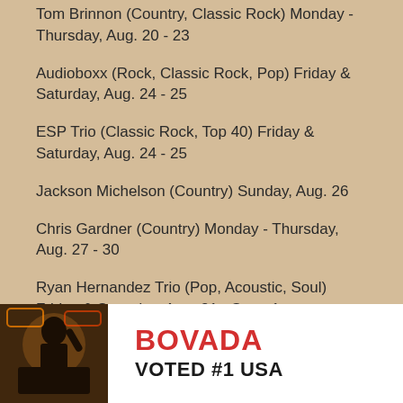Tom Brinnon (Country, Classic Rock) Monday - Thursday, Aug. 20 - 23
Audioboxx (Rock, Classic Rock, Pop) Friday & Saturday, Aug. 24 - 25
ESP Trio (Classic Rock, Top 40) Friday & Saturday, Aug. 24 - 25
Jackson Michelson (Country) Sunday, Aug. 26
Chris Gardner (Country) Monday - Thursday, Aug. 27 - 30
Ryan Hernandez Trio (Pop, Acoustic, Soul) Friday & Saturday, Aug. 31 - Sept. 1
Sugadaddy (Dance, Pop) Friday & Saturday, Aug. 31 - Sept. 1
Return to California Casinos.
[Figure (photo): Advertisement for Bovada casino featuring a person in front of neon signs. Text reads: BOVADA VOTED #1 USA]